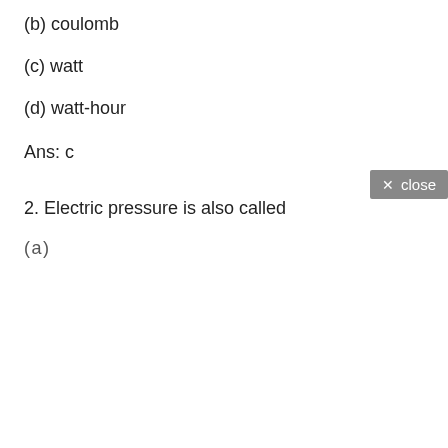(b) coulomb
(c) watt
(d) watt-hour
Ans: c
2. Electric pressure is also called
(a)